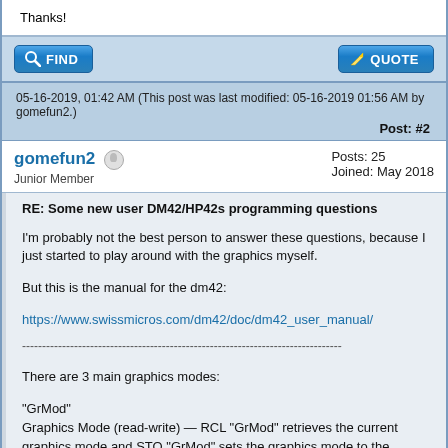Thanks!
[Figure (screenshot): Find and Quote buttons bar]
05-16-2019, 01:42 AM (This post was last modified: 05-16-2019 01:56 AM by gomefun2.)
Post: #2
gomefun2   Posts: 25  Joined: May 2018  Junior Member
RE: Some new user DM42/HP42s programming questions
I'm probably not the best person to answer these questions, because I just started to play around with the graphics myself.

But this is the manual for the dm42:

https://www.swissmicros.com/dm42/doc/dm42_user_manual/

There are 3 main graphics modes:

"GrMod"
Graphics Mode (read-write) — RCL "GrMod" retrieves the current graphics mode and STO "GrMod" sets the graphics mode to the number present in the X register. Graphics modes currently